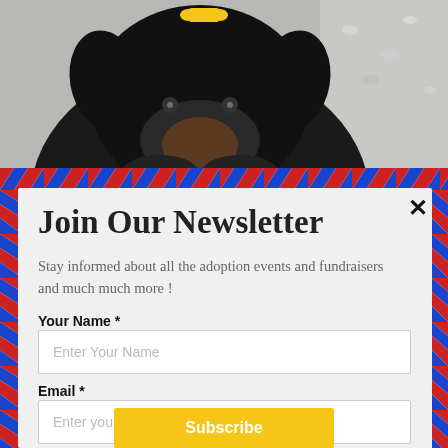[Figure (photo): A black dog with a yellow bone-shaped tag/bow on its head, photographed from above against a gravel/concrete background. Only the top portion of the dog is visible (head and upper body).]
Join Our Newsletter
Stay informed about all the adoption events and fundraisers and much much more !
Your Name *
Enter Your Name
Email *
Enter your email
Subscribe